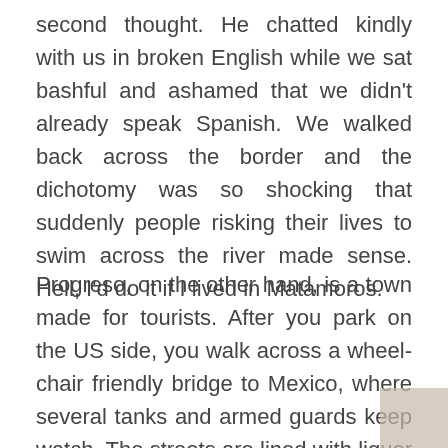second thought. He chatted kindly with us in broken English while we sat bashful and ashamed that we didn't already speak Spanish. We walked back across the border and the dichotomy was so shocking that suddenly people risking their lives to swim across the river made sense. Hell, I'd do it if I lived in Matamoros.
Progreso, on the other hand, is a town made for tourists. After you park on the US side, you walk across a wheel-chair friendly bridge to Mexico, where several tanks and armed guards keep watch. The streets are lined with liquor shops, souvenir shops, bars and restaurants, as well as cheap dentists and optometrists. We did not encounter a single other